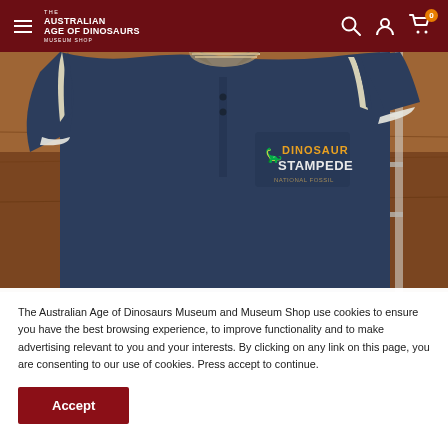THE AUSTRALIAN AGE OF DINOSAURS MUSEUM SHOP
[Figure (photo): Person wearing a navy blue polo shirt with 'Dinosaur Stampede' embroidered logo on the chest, standing outdoors with red dirt/outback background]
The Australian Age of Dinosaurs Museum and Museum Shop use cookies to ensure you have the best browsing experience, to improve functionality and to make advertising relevant to you and your interests. By clicking on any link on this page, you are consenting to our use of cookies. Press accept to continue.
Accept